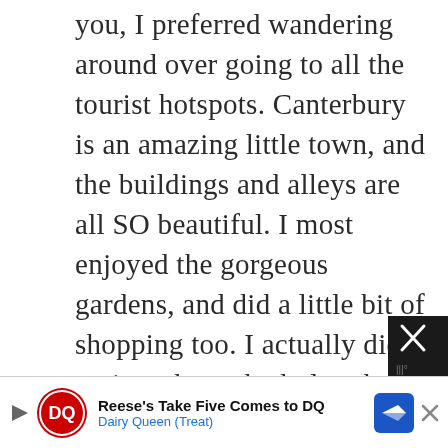you, I preferred wandering around over going to all the tourist hotspots. Canterbury is an amazing little town, and the buildings and alleys are all SO beautiful. I most enjoyed the gorgeous gardens, and did a little bit of shopping too. I actually did go into the cathedral at the end, of the day, because I could get a student discount and got in for half the price. There was a wedding going on inside, so a part
[Figure (other): Dairy Queen advertisement banner at bottom of screen: 'Reese's Take Five Comes to DQ' with Dairy Queen (Treat) subtitle, DQ logo, navigation arrow icon, and close button]